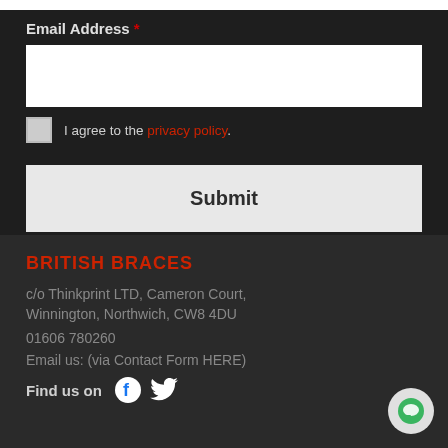Email Address *
I agree to the privacy policy.
Submit
BRITISH BRACES
c/o Thinkprint LTD, Cameron Court,
Winnington, Northwich, CW8 4DU
01606 780260
Email us: (via Contact Form HERE)
Find us on